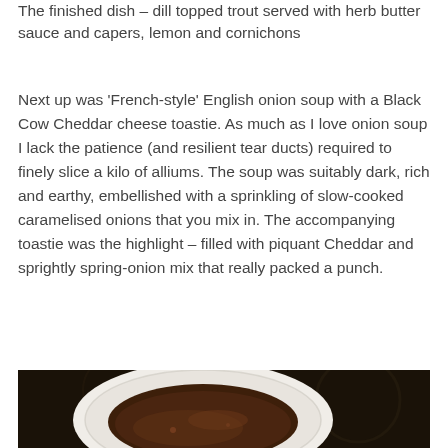The finished dish – dill topped trout served with herb butter sauce and capers, lemon and cornichons
Next up was 'French-style' English onion soup with a Black Cow Cheddar cheese toastie. As much as I love onion soup I lack the patience (and resilient tear ducts) required to finely slice a kilo of alliums. The soup was suitably dark, rich and earthy, embellished with a sprinkling of slow-cooked caramelised onions that you mix in. The accompanying toastie was the highlight – filled with piquant Cheddar and sprightly spring-onion mix that really packed a punch.
[Figure (photo): A white ceramic bowl containing dark brown onion soup, photographed from above against a dark background.]